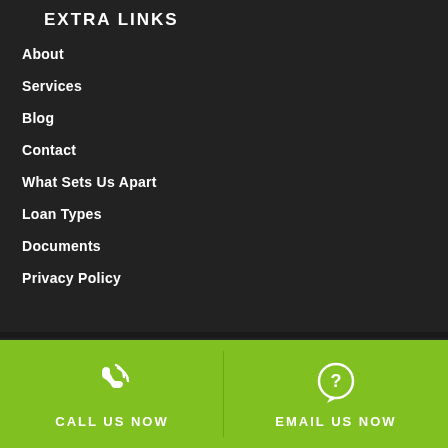EXTRA LINKS
About
Services
Blog
Contact
What Sets Us Apart
Loan Types
Documents
Privacy Policy
CALL US NOW | EMAIL US NOW